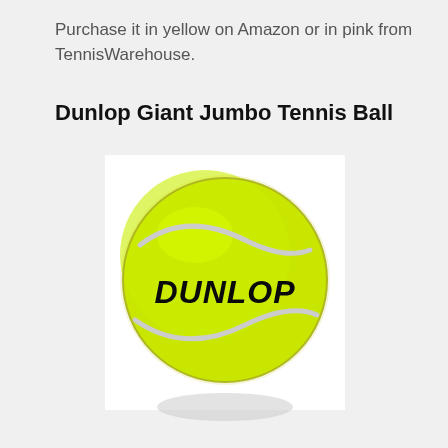Purchase it in yellow on Amazon or in pink from TennisWarehouse.
Dunlop Giant Jumbo Tennis Ball
[Figure (photo): A large yellow-green Dunlop Giant Jumbo Tennis Ball with the DUNLOP brand name printed in bold black italic text across the center, showing the characteristic white curved seam lines on a white background.]